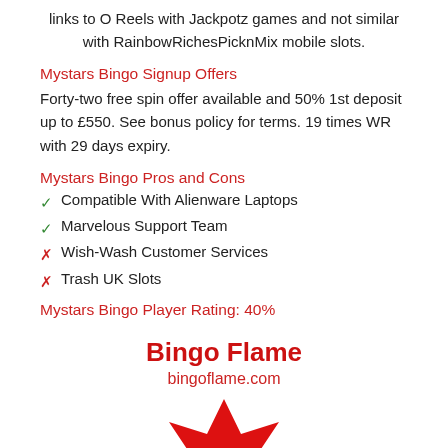links to O Reels with Jackpotz games and not similar with RainbowRichesPicknMix mobile slots.
Mystars Bingo Signup Offers
Forty-two free spin offer available and 50% 1st deposit up to £550. See bonus policy for terms. 19 times WR with 29 days expiry.
Mystars Bingo Pros and Cons
Compatible With Alienware Laptops
Marvelous Support Team
Wish-Wash Customer Services
Trash UK Slots
Mystars Bingo Player Rating: 40%
Bingo Flame
bingoflame.com
[Figure (illustration): Red maple leaf / star shape at bottom center of page]